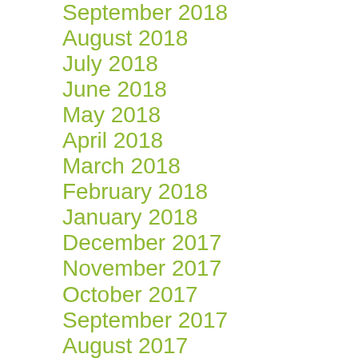September 2018
August 2018
July 2018
June 2018
May 2018
April 2018
March 2018
February 2018
January 2018
December 2017
November 2017
October 2017
September 2017
August 2017
July 2017
June 2017
May 2017
April 2017